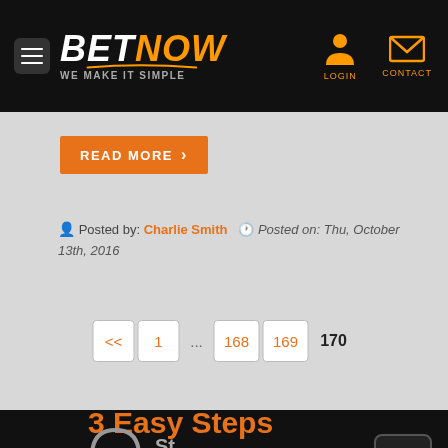[Figure (screenshot): BetNow website header with logo, hamburger menu, LOGIN and CONTACT icons]
[Figure (screenshot): READ MORE button in orange]
Posted by: Charlie Smith  Posted on: Thu, October 13th, 2016
[Figure (screenshot): Pagination navigation: << 1 ... 168 169 170]
3 Easy Steps
[Figure (screenshot): Partial step icon with arch shape and partial label text, arrow navigation button]